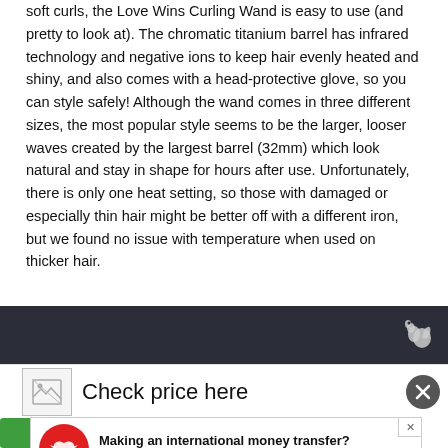soft curls, the Love Wins Curling Wand is easy to use (and pretty to look at). The chromatic titanium barrel has infrared technology and negative ions to keep hair evenly heated and shiny, and also comes with a head-protective glove, so you can style safely! Although the wand comes in three different sizes, the most popular style seems to be the larger, looser waves created by the largest barrel (32mm) which look natural and stay in shape for hours after use. Unfortunately, there is only one heat setting, so those with damaged or especially thin hair might be better off with a different iron, but we found no issue with temperature when used on thicker hair.
[Figure (other): Dark navigation/header bar with a squirrel logo icon on the right side]
[Figure (other): Widget area showing a broken image placeholder and 'Check price here' text link, with a close X button]
[Figure (other): Advertisement banner: red circle logo with bird icon, text 'Making an international money transfer? Get bank-beating exchange rates']